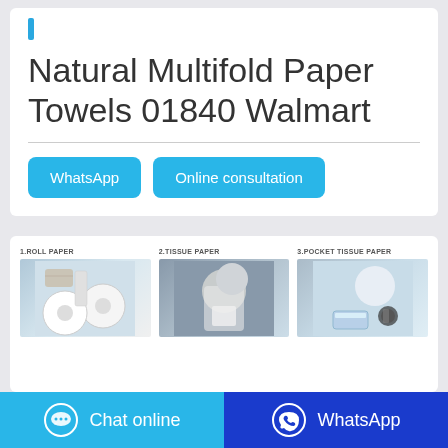Natural Multifold Paper Towels 01840 Walmart
WhatsApp
Online consultation
[Figure (photo): Three product category images: 1. Roll Paper showing roll paper on wall dispenser, 2. Tissue Paper showing someone holding tissue, 3. Pocket Tissue Paper showing pocket tissue products]
Chat online
WhatsApp